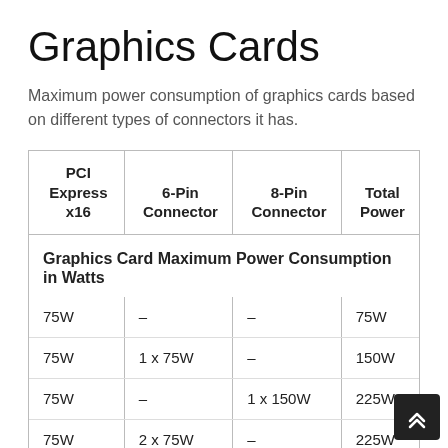Graphics Cards
Maximum power consumption of graphics cards based on different types of connectors it has.
| PCI Express x16 | 6-Pin Connector | 8-Pin Connector | Total Power |
| --- | --- | --- | --- |
| 75W | – | – | 75W |
| 75W | 1 x 75W | – | 150W |
| 75W | – | 1 x 150W | 225W |
| 75W | 2 x 75W | – | 225W |
| 75W | 1 x 75W | 1 x 150W | 300W |